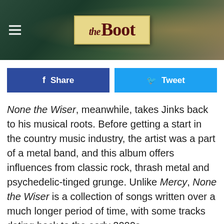[Figure (logo): The Boot website header banner with logo on textured denim/leather background, hamburger menu icon on left]
[Figure (infographic): Facebook Share button (dark blue) and Twitter Tweet button (light blue) social sharing bar]
None the Wiser, meanwhile, takes Jinks back to his musical roots. Before getting a start in the country music industry, the artist was a part of a metal band, and this album offers influences from classic rock, thrash metal and psychedelic-tinged grunge. Unlike Mercy, None the Wiser is a collection of songs written over a much longer period of time, with some tracks dating back to the early 2000s.
Though the albums were written at different times, they were recorded simultaneously, which Jinks says was a "very